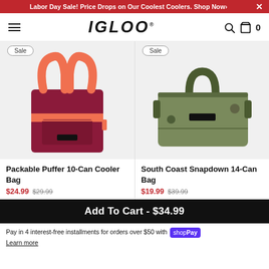Labor Day Sale! Price Drops on Our Coolest Coolers. Shop Now›
[Figure (logo): IGLOO brand logo with hamburger menu, search, and cart icons]
[Figure (photo): Packable Puffer 10-Can Cooler Bag in red/coral colorway with Sale badge]
[Figure (photo): South Coast Snapdown 14-Can Bag in olive/green colorway with Sale badge]
Packable Puffer 10-Can Cooler Bag $24.99 $29.99
South Coast Snapdown 14-Can Bag $19.99 $39.99
Add To Cart - $34.99
Pay in 4 interest-free installments for orders over $50 with shop Pay Learn more